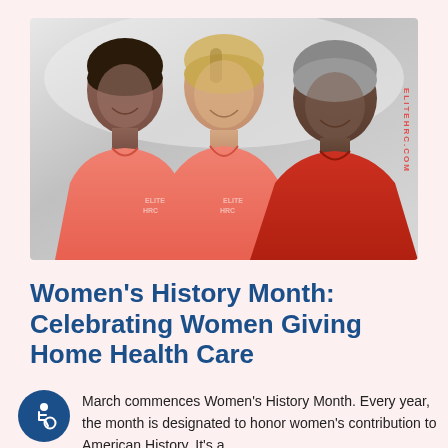[Figure (photo): Three smiling women healthcare workers in scrubs (two in salmon/coral, one in red), posing together. Black and white background with colorized scrubs. Watermark text 'ELITEHRC.COM' on right side.]
Women's History Month: Celebrating Women Giving Home Health Care
March commences Women's History Month. Every year, the month is designated to honor women's contribution to American History. It's a